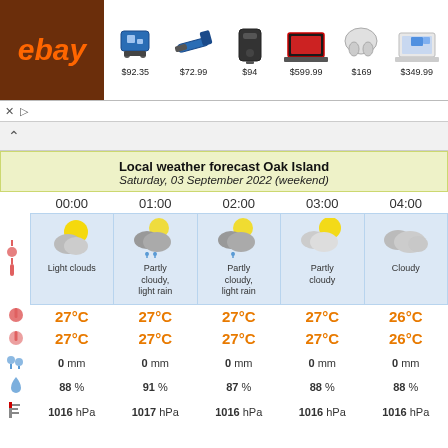[Figure (infographic): eBay advertisement banner showing 6 products: drill set $92.35, reciprocating saw $72.99, speaker $94, laptop $599.99, earbuds $169, laptop $349.99]
Local weather forecast Oak Island
Saturday, 03 September 2022 (weekend)
|  | 00:00 | 01:00 | 02:00 | 03:00 | 04:00 |
| --- | --- | --- | --- | --- | --- |
| icon | Light clouds | Partly cloudy, light rain | Partly cloudy, light rain | Partly cloudy | Cloudy |
| temp high | 27°C | 27°C | 27°C | 27°C | 26°C |
| temp low | 27°C | 27°C | 27°C | 27°C | 26°C |
| rain | 0 mm | 0 mm | 0 mm | 0 mm | 0 mm |
| humidity | 88 % | 91 % | 87 % | 88 % | 88 % |
| pressure | 1016 hPa | 1017 hPa | 1016 hPa | 1016 hPa | 1016 hPa |